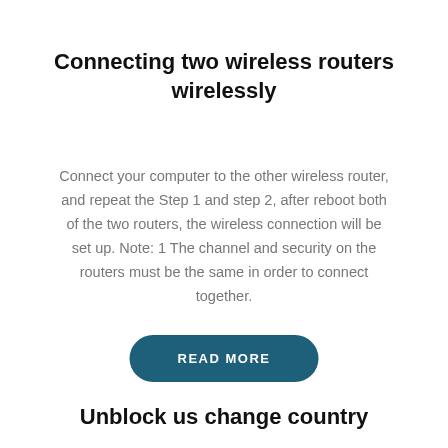Connecting two wireless routers wirelessly
Connect your computer to the other wireless router, and repeat the Step 1 and step 2, after reboot both of the two routers, the wireless connection will be set up. Note: 1 The channel and security on the routers must be the same in order to connect together.
READ MORE
Unblock us change country